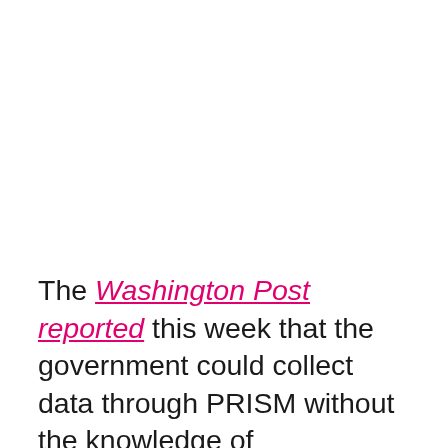The Washington Post reported this week that the government could collect data through PRISM without the knowledge of participating companies; only extremely high-level executives were said to be aware. Twitter has so far managed to abstain from participating in PRISM.